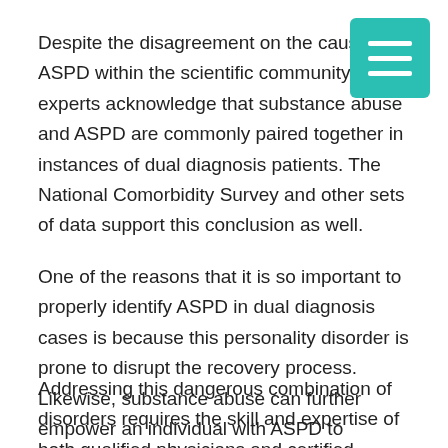Despite the disagreement on the causes of ASPD within the scientific community, most experts acknowledge that substance abuse and ASPD are commonly paired together in instances of dual diagnosis patients. The National Comorbidity Survey and other sets of data support this conclusion as well.
One of the reasons that it is so important to properly identify ASPD in dual diagnosis cases is because this personality disorder is prone to disrupt the recovery process. Likewise, substance abuse can further empower an individual with ASPD to engage in risky, self-destructive behaviors.
Addressing this dangerous combination of disorders requires the skill and expertise of both qualified physicians and certified therapists who have experience in treating co-